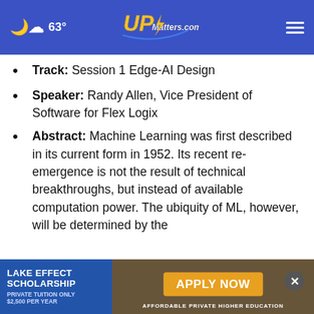☁ 63° | UPMatters.com
Track: Session 1 Edge-AI Design
Speaker: Randy Allen, Vice President of Software for Flex Logix
Abstract: Machine Learning was first described in its current form in 1952. Its recent re-emergence is not the result of technical breakthroughs, but instead of available computation power. The ubiquity of ML, however, will be determined by the
[Figure (screenshot): Advertisement banner for Lake Effect Scholarship with 'Apply Now' button and text 'Affordable Private Higher Education', 'Private Tuition Only $2,500 Per Year']